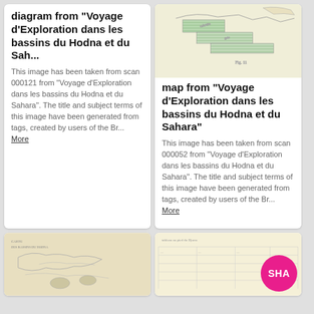diagram from "Voyage d'Exploration dans les bassins du Hodna et du Sah...
This image has been taken from scan 000121 from "Voyage d'Exploration dans les bassins du Hodna et du Sahara". The title and subject terms of this image have been generated from tags, created by users of the Br... More
[Figure (illustration): Geological layered cross-section sketch with green hatching and French labels, from Voyage d'Exploration]
map from "Voyage d'Exploration dans les bassins du Hodna et du Sahara"
This image has been taken from scan 000052 from "Voyage d'Exploration dans les bassins du Hodna et du Sahara". The title and subject terms of this image have been generated from tags, created by users of the Br... More
[Figure (map): Old hand-drawn map/diagram, beige toned, partial view at bottom left]
[Figure (illustration): Partial old diagram/table with yellow-beige background, partial view at bottom right, with SHA pink badge overlay]